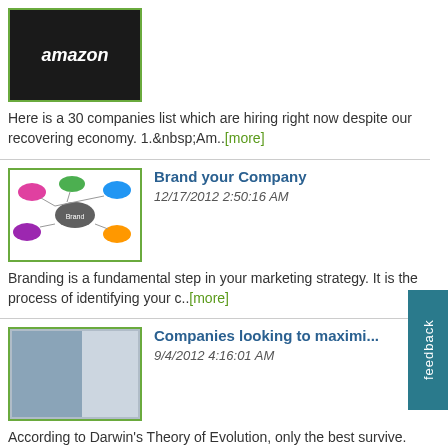Here is a 30 companies list which are hiring right now despite our recovering economy. 1. Am..[more]
Brand your Company
12/17/2012 2:50:16 AM
Branding is a fundamental step in your marketing strategy. It is the process of identifying your c..[more]
Companies looking to maximi...
9/4/2012 4:16:01 AM
According to Darwin’s Theory of Evolution, only the best survive. His theory has been proven time ..[more]
Weird behaviors in work ele...
8/23/2012 3:59:41 AM
General elevator etiquette requires to face forward and keep to yourself. However, there have been..[more]
Higher Pay for Singapore SB...
4/24/2012 4:45:35 AM
More than 5,300 bus drivers can look forward to receiving